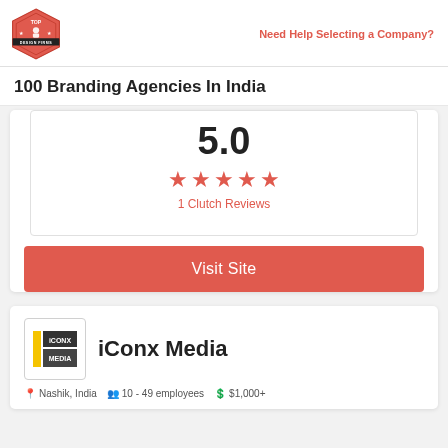Top Design Firms | Need Help Selecting a Company?
100 Branding Agencies In India
[Figure (infographic): Rating box showing 5.0 score with 5 red stars and '1 Clutch Reviews' label]
Visit Site
iConx Media
Nashik, India   10 - 49 employees   $1,000+